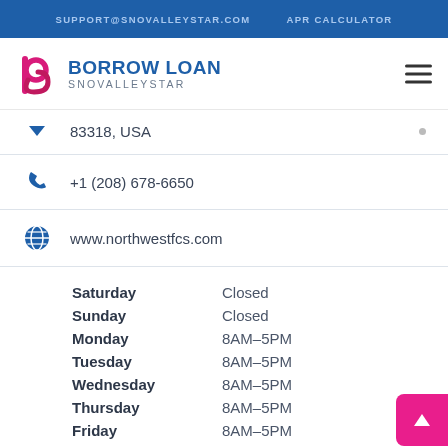SUPPORT@SNOVALLEYSTAR.COM   APR CALCULATOR
[Figure (logo): Borrow Loan SnoValleyStar logo with stylized 'b' in pink/magenta and blue text]
83318, USA
+1 (208) 678-6650
www.northwestfcs.com
| Day | Hours |
| --- | --- |
| Saturday | Closed |
| Sunday | Closed |
| Monday | 8AM–5PM |
| Tuesday | 8AM–5PM |
| Wednesday | 8AM–5PM |
| Thursday | 8AM–5PM |
| Friday | 8AM–5PM |